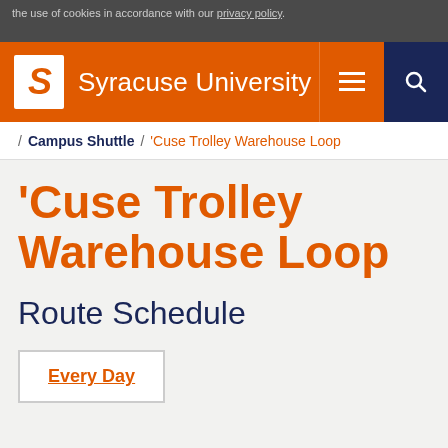the use of cookies in accordance with our privacy policy.
Syracuse University
/ Campus Shuttle / 'Cuse Trolley Warehouse Loop
'Cuse Trolley Warehouse Loop
Route Schedule
Every Day